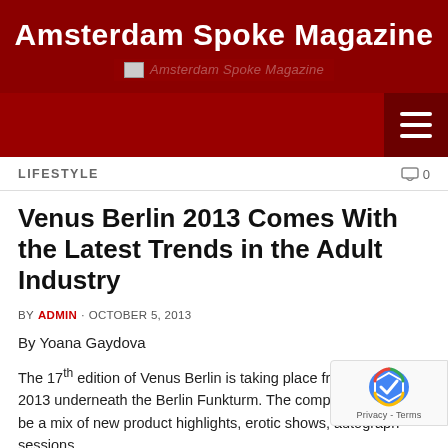Amsterdam Spoke Magazine
LIFESTYLE
Venus Berlin 2013 Comes With the Latest Trends in the Adult Industry
BY ADMIN · OCTOBER 5, 2013
By Yoana Gaydova
The 17th edition of Venus Berlin is taking place from 17 until 20 2013 underneath the Berlin Funkturm. The comprehensive prog be a mix of new product highlights, erotic shows, autograph sessions